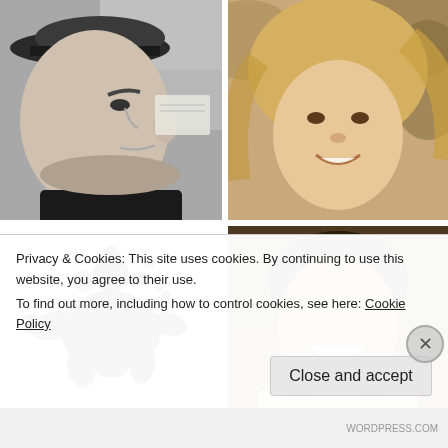[Figure (photo): Black and white profile photo of a man wearing a baseball cap, looking to the right, with water in background]
[Figure (photo): Sepia-toned photo of a smiling blonde woman with flowing hair, green foliage in background]
[Figure (logo): Black ink splash / splat logo mark on white background]
[Figure (photo): Warm-toned photo of a smiling dark-haired woman with sunglasses on her head, laughing]
Privacy & Cookies: This site uses cookies. By continuing to use this website, you agree to their use.
To find out more, including how to control cookies, see here: Cookie Policy
Close and accept